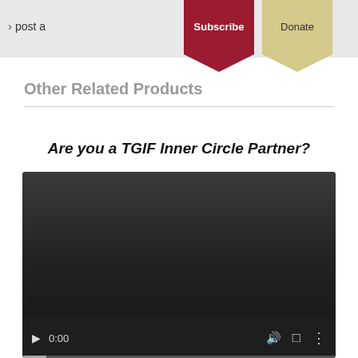[Figure (screenshot): Top navigation bar with 'post a' text, Subscribe button (dark red ribbon), and Donate button (tan/gold ribbon)]
Other Related Products
Are you a TGIF Inner Circle Partner?
[Figure (screenshot): Video player with dark background, play button, time display '0:00', volume icon, fullscreen icon, and options icon. Progress bar at bottom.]